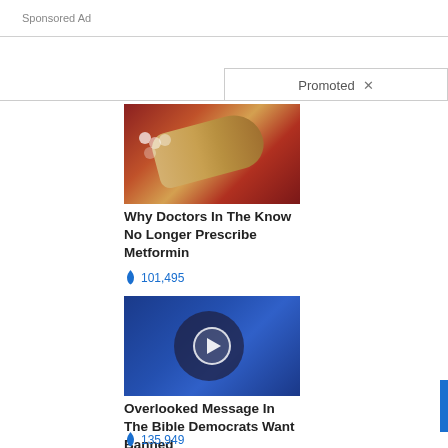Sponsored Ad
Promoted ×
[Figure (photo): Close-up image of biological tissue, possibly intestinal or organ tissue with yellow/tan colored structure]
Why Doctors In The Know No Longer Prescribe Metformin
🔥 101,495
[Figure (photo): Video thumbnail of an elderly man in a suit speaking at a podium, blue background, with play button overlay]
Overlooked Message In The Bible Democrats Want Banned
🔥 135,949